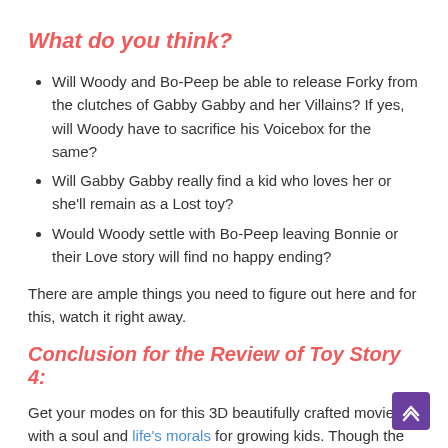What do you think?
Will Woody and Bo-Peep be able to release Forky from the clutches of Gabby Gabby and her Villains? If yes, will Woody have to sacrifice his Voicebox for the same?
Will Gabby Gabby really find a kid who loves her or she'll remain as a Lost toy?
Would Woody settle with Bo-Peep leaving Bonnie or their Love story will find no happy ending?
There are ample things you need to figure out here and for this, watch it right away.
Conclusion for the Review of Toy Story 4:
Get your modes on for this 3D beautifully crafted movie with a soul and life's morals for growing kids. Though the Gabby Gabby...